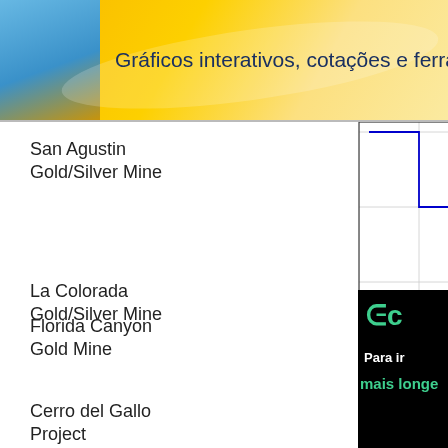Gráficos interativos, cotações e ferram
San Agustin
Gold/Silver Mine
[Figure (continuous-plot): Intraday stock price chart showing stepped blue line from ~1130 to ~1630, with y-axis values 0.465, 0.47, 0.475 and x-axis labels 1130, 1230, 1330, 1430, 1530, 1630. Red dot at approximately (1230, 0.47). Attribution: (c) www.advfn.com]
La Colorada
Gold/Silver Mine
[Figure (other): Advertisement banner: black background with green 'EC' logo at top left and text 'Para ir mais longe' in white and teal]
Florida Canyon
Gold Mine
Cerro del Gallo
Project